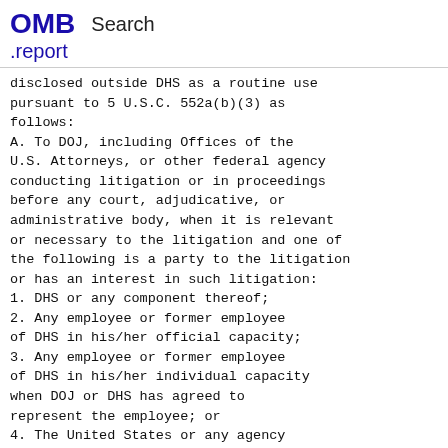OMB Search .report
disclosed outside DHS as a routine use pursuant to 5 U.S.C. 552a(b)(3) as follows:
A. To DOJ, including Offices of the U.S. Attorneys, or other federal agency conducting litigation or in proceedings before any court, adjudicative, or administrative body, when it is relevant or necessary to the litigation and one of the following is a party to the litigation or has an interest in such litigation:
1. DHS or any component thereof;
2. Any employee or former employee of DHS in his/her official capacity;
3. Any employee or former employee of DHS in his/her individual capacity when DOJ or DHS has agreed to represent the employee; or
4. The United States or any agency